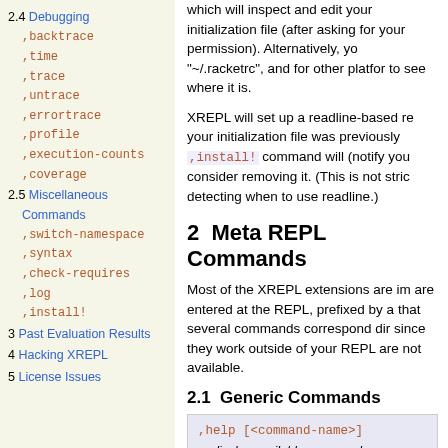2.4 Debugging
,backtrace
,time
,trace
,untrace
,errortrace
,profile
,execution-counts
,coverage
2.5 Miscellaneous Commands
,switch-namespace
,syntax
,check-requires
,log
,install!
3 Past Evaluation Results
4 Hacking XREPL
5 License Issues
which will inspect and edit your initialization file (after asking for your permission). Alternatively, you may manually edit "~/.racketrc", and for other platforms use ,install! to see where it is.
XREPL will set up a readline-based reader if possible, in case your initialization file was previously set up for this, the ,install! command will (notify you and) leave it as is, but you should consider removing it. (This is not strictly needed, as XREPL is detecting when to use readline.)
2  Meta REPL Commands
Most of the XREPL extensions are implemented as meta commands that are entered at the REPL, prefixed by a comma. Note that several commands correspond directly to Racket functions, since they work outside of your REPL's namespace, some bindings are not available.
2.1  Generic Commands
,help [<command-name>]
display available commands
[Synonyms: ,h ,?]